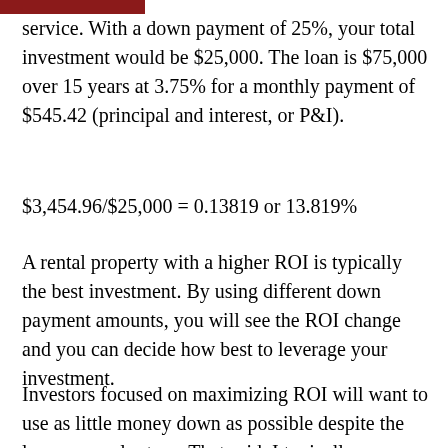service. With a down payment of 25%, your total investment would be $25,000. The loan is $75,000 over 15 years at 3.75% for a monthly payment of $545.42 (principal and interest, or P&I).
A rental property with a higher ROI is typically the best investment. By using different down payment amounts, you will see the ROI change and you can decide how best to leverage your investment.
Investors focused on maximizing ROI will want to use as little money down as possible despite the lower annual return. That said, I typically